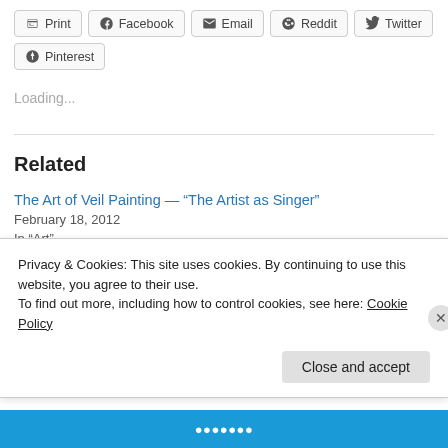Print
Facebook
Email
Reddit
Twitter
Pinterest
Loading...
Related
The Art of Veil Painting — “The Artist as Singer”
February 18, 2012
In “Art”
Wake Up!
Privacy & Cookies: This site uses cookies. By continuing to use this website, you agree to their use.
To find out more, including how to control cookies, see here: Cookie Policy